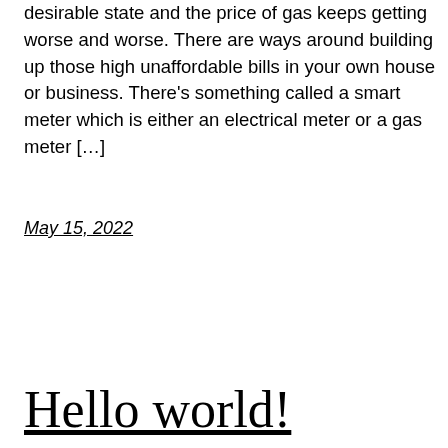desirable state and the price of gas keeps getting worse and worse. There are ways around building up those high unaffordable bills in your own house or business. There's something called a smart meter which is either an electrical meter or a gas meter […]
May 15, 2022
Hello world!